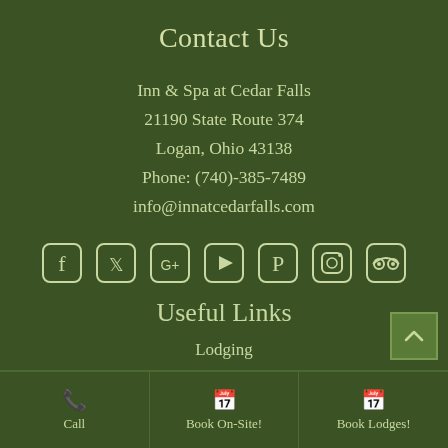Contact Us
Inn & Spa at Cedar Falls
21190 State Route 374
Logan, Ohio 43138
Phone: (740)-385-7489
info@innatcedarfalls.com
[Figure (infographic): Row of 7 social media icon buttons: Facebook, Twitter, Google+, YouTube, Pinterest, Instagram, TripAdvisor]
Useful Links
Lodging
Specials
Kindred Spirits Restaurant at Cedar Falls Inn